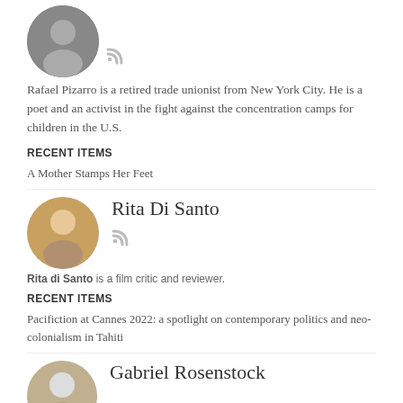[Figure (photo): Circular avatar photo of Rafael Pizarro, a man wearing a hat]
Rafael Pizarro is a retired trade unionist from New York City. He is a poet and an activist in the fight against the concentration camps for children in the U.S.
RECENT ITEMS
A Mother Stamps Her Feet
[Figure (photo): Circular avatar photo of Rita Di Santo, a woman with blonde hair]
Rita Di Santo
Rita di Santo is a film critic and reviewer.
RECENT ITEMS
Pacifiction at Cannes 2022: a spotlight on contemporary politics and neo-colonialism in Tahiti
[Figure (photo): Circular avatar photo of Gabriel Rosenstock, a man with light hair]
Gabriel Rosenstock